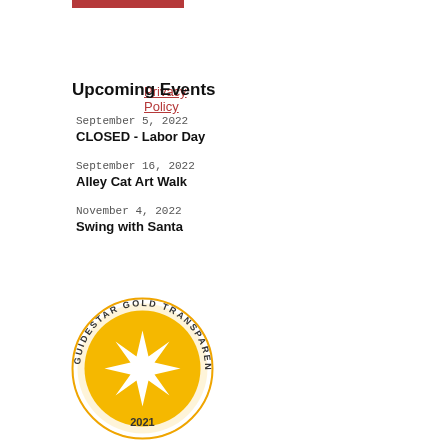[Figure (other): Red horizontal bar at top of page]
Privacy Policy
Upcoming Events
September 5, 2022
CLOSED - Labor Day
September 16, 2022
Alley Cat Art Walk
November 4, 2022
Swing with Santa
See all Events
[Figure (logo): GuideStar Gold Transparency 2021 seal badge — circular gold badge with white star burst in center, text around ring reading GUIDESTAR GOLD TRANSPARENCY, year 2021 at bottom]